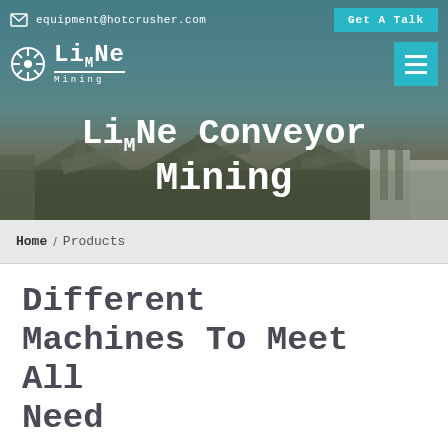equipment@hotcrusher.com | Get A Talk
LiMe Conveyor Mining
[Figure (photo): Industrial mining facility with conveyor belts and machinery against a blue sky background]
Home / Products
Different Machines To Meet All Need
[Figure (photo): Interior of industrial warehouse or factory building with steel roof structure and natural lighting]